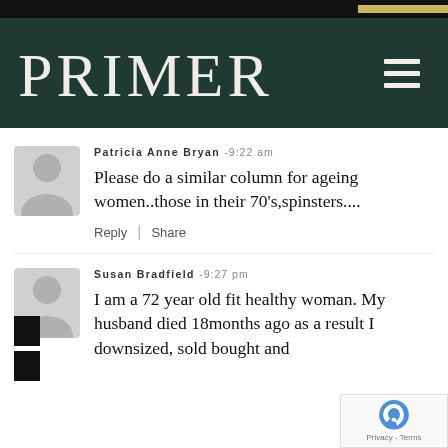PRIMER
Patricia Anne Bryan - 9:22 am
Please do a similar column for ageing women..those in their 70's,spinsters....
Reply | Share
Susan Bradfield - 9:27 pm
I am a 72 year old fit healthy woman. My husband died 18months ago as a result I downsized, sold bought and